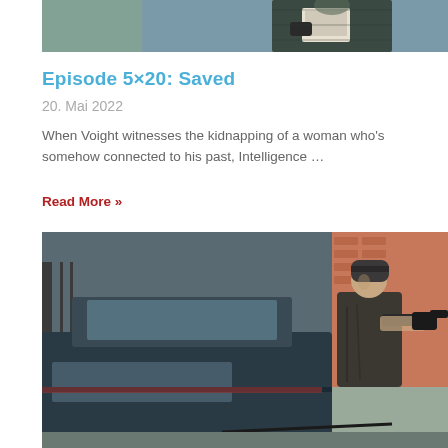[Figure (photo): Top portion of a cropped photo showing a person in a dark coat holding a clipboard or tablet, partially visible.]
Episode 5×20: Saved
20. Mai 2022
When Voight witnesses the kidnapping of a woman who's somehow connected to his past, Intelligence …
Read More »
[Figure (photo): A man in a dark jacket and beanie hat aiming a gun over the roof of a dark car on a street scene.]